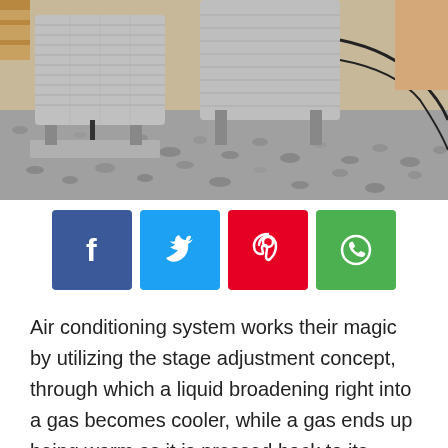[Figure (photo): Outdoor HVAC air conditioning units sitting on gravel, multiple metal condenser units on concrete pads]
[Figure (infographic): Social media share buttons: Facebook (blue), Twitter (light blue), Pinterest (red), WhatsApp (green)]
Air conditioning system works their magic by utilizing the stage adjustment concept, through which a liquid broadening right into a gas becomes cooler, while a gas ends up being warm as it is pressed back to its liquid state. In an air conditioner, the liquid used is a unique chemical that boils at a relatively low temperature. As the refrigerant turns into a gas moving past the expansion valve, it cools down the indoor evaporator coils,